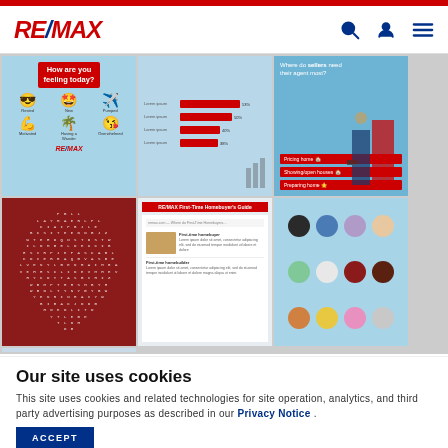RE/MAX
[Figure (screenshot): Grid of 6 social media / marketing images from RE/MAX including 'How are you feeling today?' emoji graphic, bar chart infographic, sellers infographic, word search puzzle, first-time homebuyer's guide screenshot, and color palette grid, plus a storefront image]
Our site uses cookies
This site uses cookies and related technologies for site operation, analytics, and third party advertising purposes as described in our Privacy Notice .